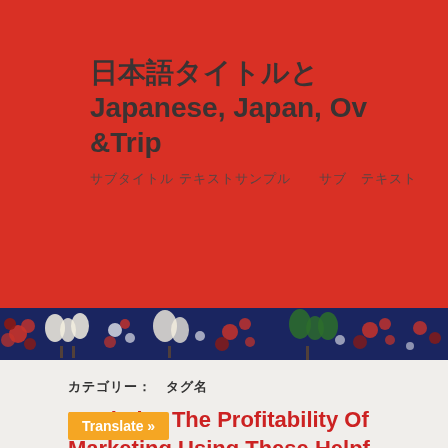日本語タイトルとJapanese, Japan, Ov &Trip
サブタイトル テキストサンプル　サブ　テキスト
[Figure (illustration): Decorative kimono floral pattern banner strip with dark navy background and colorful flower designs]
カテゴリー: タグ名
Maximize The Profitability Of Marketing Using These Helpful Tips